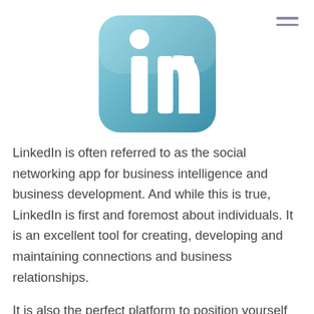[Figure (logo): LinkedIn app icon logo — rounded square with blue-to-teal gradient background and white 'in' text with a small circle above the 'i']
LinkedIn is often referred to as the social networking app for business intelligence and business development. And while this is true, LinkedIn is first and foremost about individuals. It is an excellent tool for creating, developing and maintaining connections and business relationships.
It is also the perfect platform to position yourself as an authority in your industry, demonstrate your business